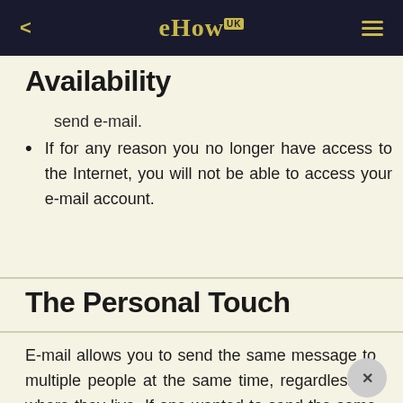eHow UK
Availability
send e-mail.
If for any reason you no longer have access to the Internet, you will not be able to access your e-mail account.
The Personal Touch
E-mail allows you to send the same message to multiple people at the same time, regardless of where they live. If one wanted to send the same letter to multiple people